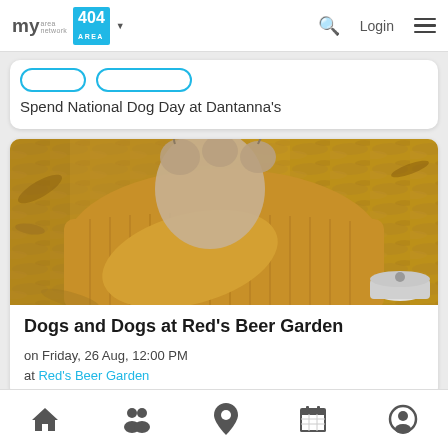my area network | 404 AREA | Login
Spend National Dog Day at Dantanna's
[Figure (photo): Close-up photo of a dog's paw resting on a person's arm wearing a golden/mustard yellow chunky knit sweater, with wood chip ground visible in background and a drink can visible at lower right]
Dogs and Dogs at Red's Beer Garden
on Friday, 26 Aug, 12:00 PM
at Red's Beer Garden
Home | People | Location | Calendar | Profile